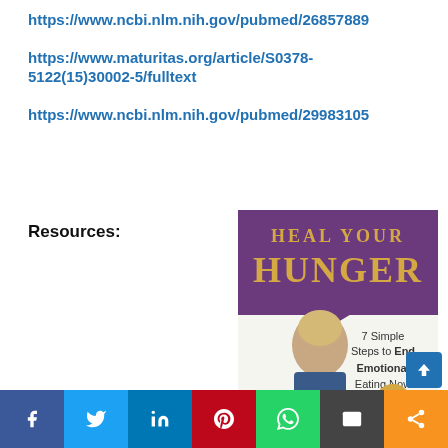https://www.ncbi.nlm.nih.gov/pubmed/26857889
https://www.maturitas.org/article/S0378-5122(15)30002-5/fulltext
https://www.ncbi.nlm.nih.gov/pubmed/29983105
Resources:
[Figure (photo): Book cover: Heal Your Hunger - 7 Simple Steps to End Emotional Eating Now, showing a blonde woman in a blue dress]
Social sharing bar with Facebook, Twitter, LinkedIn, Pinterest, WhatsApp, Email, Share buttons